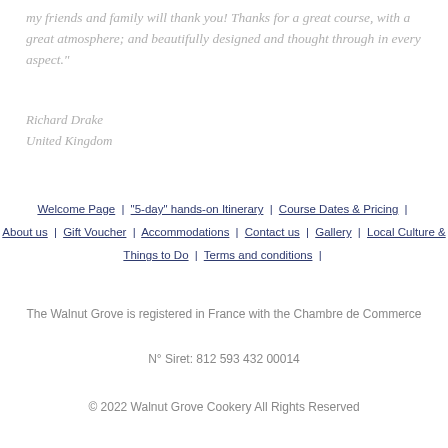my friends and family will thank you! Thanks for a great course, with a great atmosphere; and beautifully designed and thought through in every aspect."
Richard Drake
United Kingdom
Welcome Page | "5-day" hands-on Itinerary | Course Dates & Pricing | About us | Gift Voucher | Accommodations | Contact us | Gallery | Local Culture & Things to Do | Terms and conditions |
The Walnut Grove is registered in France with the Chambre de Commerce
N° Siret: 812 593 432 00014
© 2022 Walnut Grove Cookery All Rights Reserved